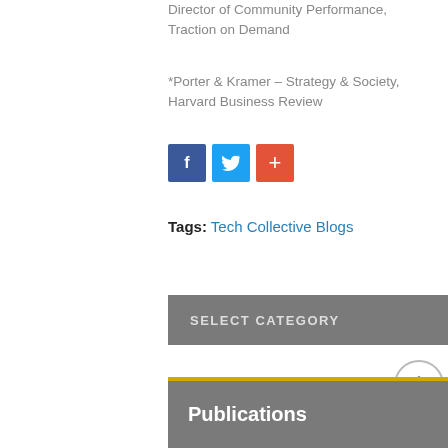Director of Community Performance, Traction on Demand
*Porter & Kramer – Strategy & Society, Harvard Business Review
[Figure (other): Social share buttons: Facebook (blue), Twitter (light blue), Plus/share (orange-red)]
Tags: Tech Collective Blogs
[Figure (other): SELECT CATEGORY dropdown bar with dark gray background and downward arrow]
[Figure (other): Scroll-to-top circular button with upward arrow]
Publications